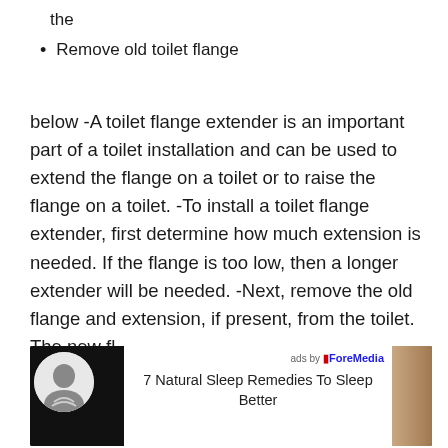the
Remove old toilet flange
below -A toilet flange extender is an important part of a toilet installation and can be used to extend the flange on a toilet or to raise the flange on a toilet. -To install a toilet flange extender, first determine how much extension is needed. If the flange is too low, then a longer extender will be needed. -Next, remove the old flange and extension, if present, from the toilet. The new fl
[Figure (screenshot): Advertisement box with black background on left side showing a circular icon/avatar, and white background on right showing 'ads by ForeMedia' text and ad title '7 Natural Sleep Remedies To Sleep Better']